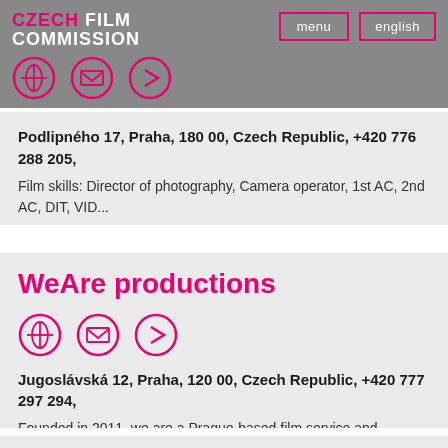Czech Film Commission — menu / english
Podlipného 17, Praha, 180 00, Czech Republic, +420 776 288 205,
Film skills: Director of photography, Camera operator, 1st AC, 2nd AC, DIT, VID...
WeAre productions
Jugoslávská 12, Praha, 120 00, Czech Republic, +420 777 297 294,
Founded in 2011, we are a Prague-based film service and production company. We o...